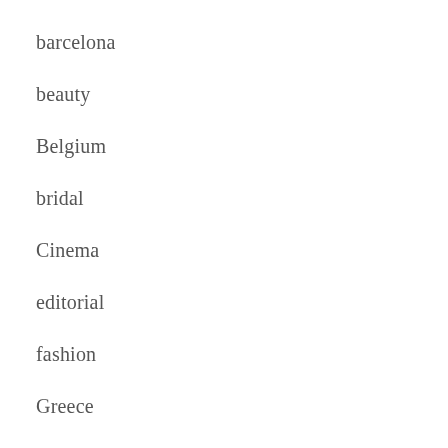barcelona
beauty
Belgium
bridal
Cinema
editorial
fashion
Greece
India